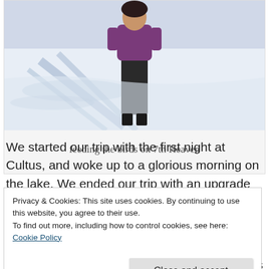[Figure (photo): A person in purple top and dark pants standing on a snowy slope, with ski shadows visible on the snow. Photo taken at 7th Heaven ski area.]
feeding the birds on 7th Heaven
We started our trip with the first night at Cultus, and woke up to a glorious morning on the lake. We ended our trip with an upgrade at the Shangri-la
Privacy & Cookies: This site uses cookies. By continuing to use this website, you agree to their use.
To find out more, including how to control cookies, see here: Cookie Policy
Close and accept
dismal rain we had on our trip ruined our plans to